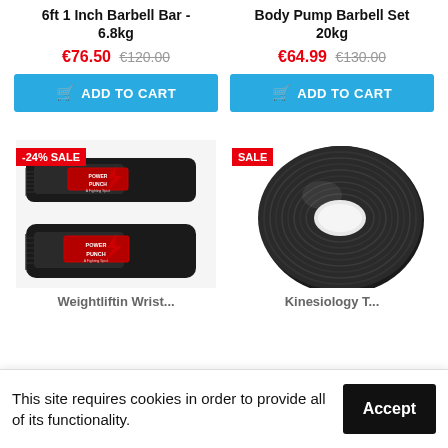6ft 1 Inch Barbell Bar - 6.8kg
Body Pump Barbell Set 20kg
€76.50 €120.00
€64.99 €130.00
ADD TO CART
ADD TO CART
[Figure (photo): Two black weightlifting wrist straps with Power Punch branding and red label, stacked, -24% SALE badge]
[Figure (photo): Roll of black kinesiology tape on white background, SALE badge]
Weightliftin Wrist...
This site requires cookies in order to provide all of its functionality.
Accept